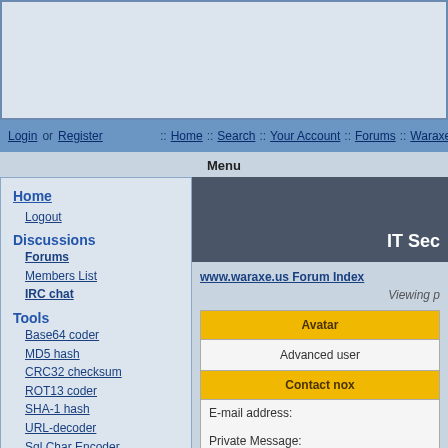[Figure (screenshot): Top banner area with light blue/gray background]
Login or Register :: Home :: Search :: Your Account :: Forums :: Waraxe
Menu
Home
Logout
Discussions
Forums
Members List
IRC chat
Tools
Base64 coder
MD5 hash
CRC32 checksum
ROT13 coder
SHA-1 hash
URL-decoder
Sql Char Encoder
Affiliates
y3dips ITsec
Md5 Cracker
User Manuals
AlbumNow
Content
IT Sec
www.waraxe.us Forum Index
Viewing p
| Avatar |
| --- |
| Advanced user |
| Contact nox |
| E-mail address: |  |
| Private Message: |  |